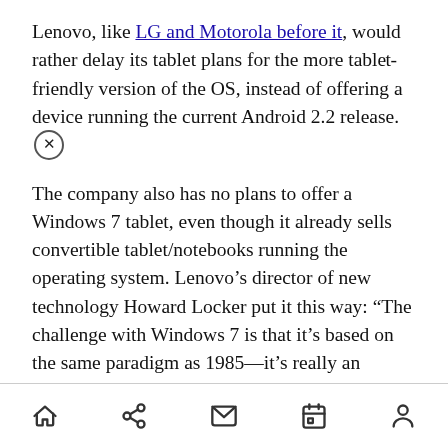Lenovo, like LG and Motorola before it, would rather delay its tablet plans for the more tablet-friendly version of the OS, instead of offering a device running the current Android 2.2 release.
The company also has no plans to offer a Windows 7 tablet, even though it already sells convertible tablet/notebooks running the operating system. Lenovo’s director of new technology Howard Locker put it this way: “The challenge with Windows 7 is that it’s based on the same paradigm as 1985—it’s really an interface that’s optimized for a mouse and keyboard. It has to be optimized for touch. How do you do that?”